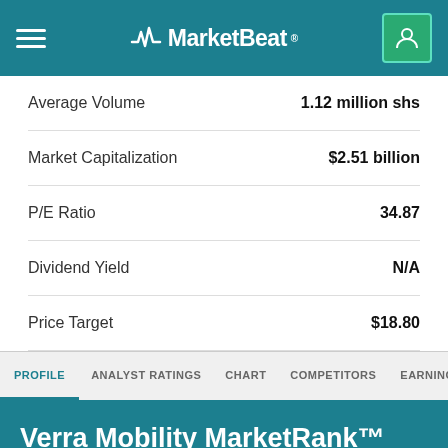MarketBeat
| Metric | Value |
| --- | --- |
| Average Volume | 1.12 million shs |
| Market Capitalization | $2.51 billion |
| P/E Ratio | 34.87 |
| Dividend Yield | N/A |
| Price Target | $18.80 |
PROFILE  ANALYST RATINGS  CHART  COMPETITORS  EARNINGS  FINANCIALS
Verra Mobility MarketRank™ Forecast